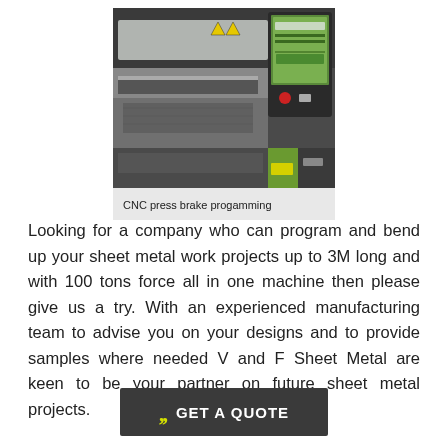[Figure (photo): CNC press brake machine with a control panel/monitor on the right side showing programming interface, yellow warning symbols visible on the machine.]
CNC press brake progamming
Looking for a company who can program and bend up your sheet metal work projects up to 3M long and with 100 tons force all in one machine then please give us a try. With an experienced manufacturing team to advise you on your designs and to provide samples where needed V and F Sheet Metal are keen to be your partner on future sheet metal projects.